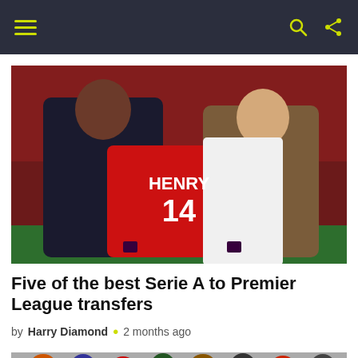Navigation bar with hamburger menu and icons
[Figure (photo): Two men holding up an Arsenal football shirt with 'HENRY 14' printed on it, at a stadium]
Five of the best Serie A to Premier League transfers
by Harry Diamond · 2 months ago
[Figure (photo): Partial bottom image of a crowd scene, cropped]